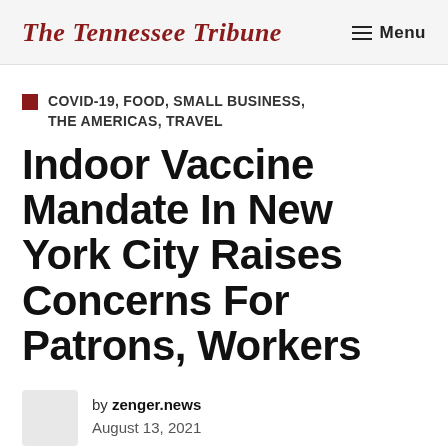The Tennessee Tribune
COVID-19, FOOD, SMALL BUSINESS, THE AMERICAS, TRAVEL
Indoor Vaccine Mandate In New York City Raises Concerns For Patrons, Workers
by zenger.news
August 13, 2021